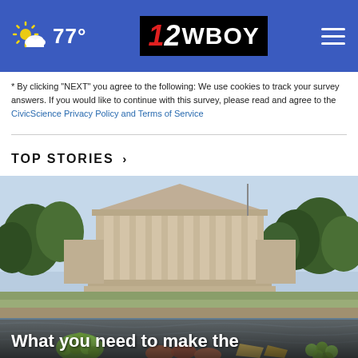77° | 12WBOY
* By clicking "NEXT" you agree to the following: We use cookies to track your survey answers. If you would like to continue with this survey, please read and agree to the CivicScience Privacy Policy and Terms of Service
TOP STORIES ›
[Figure (photo): Photograph of a classical government building with columns, viewed across a river/waterway with trees and landscaping in the foreground. A food spread with grapes and charcuterie is overlaid in the bottom portion of the image.]
What you need to make the